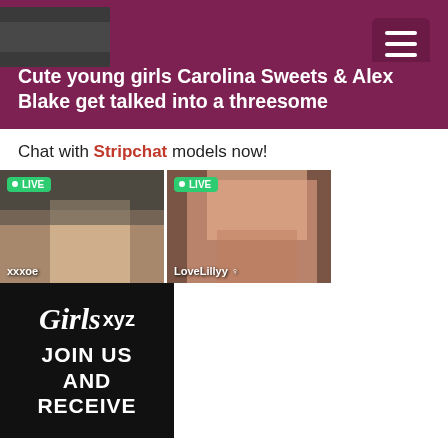Cute young girls Carolina Sweets & Alex Blake get talked into a threesome
Chat with Stripchat models now!
[Figure (screenshot): Two live stream thumbnails side by side labeled LIVE, with usernames xxxoe and LoveLillyy]
[Figure (infographic): Girls.xyz black banner with JOIN US AND RECEIVE text]